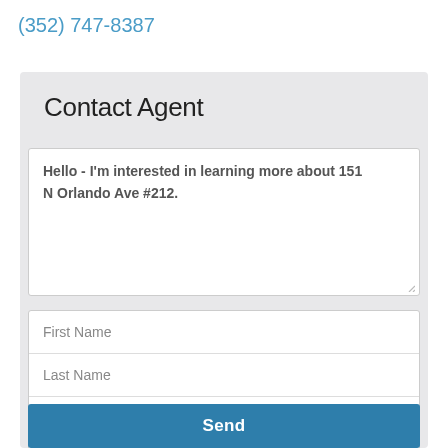(352) 747-8387
Contact Agent
Hello - I'm interested in learning more about 151 N Orlando Ave #212.
First Name
Last Name
Email*
Phone
Send